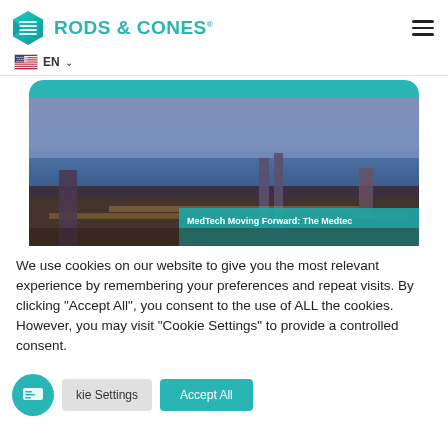[Figure (logo): Rods & Cones logo with teal geometric hexagon icon and teal text]
EN ∨
[Figure (photo): Aerial cityscape at dusk/evening showing a coastal city skyline with towers, city lights and sea in background — Barcelona. Teal rounded card with text overlay: MedTech Moving Forward: The Medtec]
We use cookies on our website to give you the most relevant experience by remembering your preferences and repeat visits. By clicking "Accept All", you consent to the use of ALL the cookies. However, you may visit "Cookie Settings" to provide a controlled consent.
kie Settings
Accept All